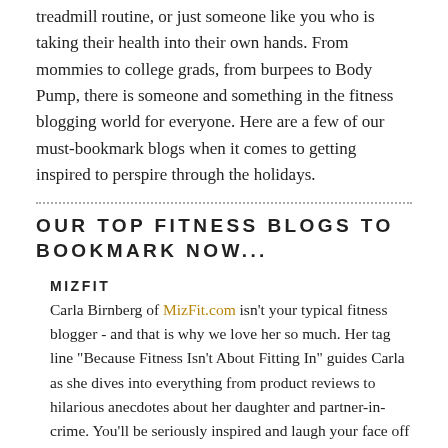treadmill routine, or just someone like you who is taking their health into their own hands. From mommies to college grads, from burpees to Body Pump, there is someone and something in the fitness blogging world for everyone. Here are a few of our must-bookmark blogs when it comes to getting inspired to perspire through the holidays.
OUR TOP FITNESS BLOGS TO BOOKMARK NOW...
MIZFIT
Carla Birnberg of MizFit.com isn't your typical fitness blogger - and that is why we love her so much. Her tag line "Because Fitness Isn't About Fitting In" guides Carla as she dives into everything from product reviews to hilarious anecdotes about her daughter and partner-in-crime. You'll be seriously inspired and laugh your face off simultaneously.